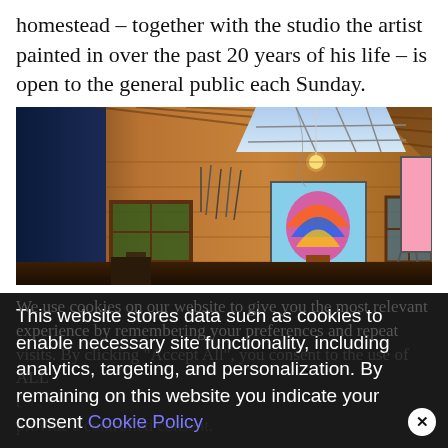homestead – together with the studio the artist painted in over the past 20 years of his life – is open to the general public each Sunday.
[Figure (photo): Interior of a wooden art studio with warm wood-paneled walls, skylight windows, tools hanging on the wall, colorful paintings on the walls, and an easel on the right.]
We use cookies on our website to give you the most relevant experience by remembering your preferences and repeat visits. By clicking "Accept All", you consent to the use of ALL the cookies. However, you may visit "Cookie Settings" to provide a controlled consent.
This website stores data such as cookies to enable necessary site functionality, including analytics, targeting, and personalization. By remaining on this website you indicate your consent Cookie Policy